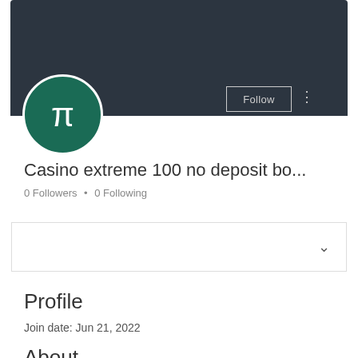[Figure (screenshot): Dark banner background with Follow button and three-dot menu, and circular green avatar with letter n]
Casino extreme 100 no deposit bo...
0 Followers • 0 Following
[Figure (other): Dropdown box with chevron]
Profile
Join date: Jun 21, 2022
About